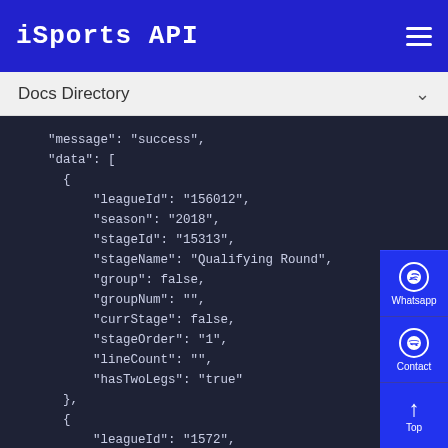iSports API
Docs Directory
"message": "success",
"data": [
  {
    "leagueId": "156012",
    "season": "2018",
    "stageId": "15313",
    "stageName": "Qualifying Round",
    "group": false,
    "groupNum": "",
    "currStage": false,
    "stageOrder": "1",
    "lineCount": "",
    "hasTwoLegs": "true"
  },
  {
    "leagueId": "1572",
    "season": "2018",